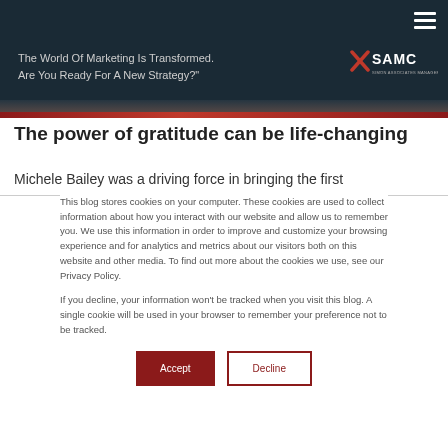The World Of Marketing Is Transformed. Are You Ready For A New Strategy?
The power of gratitude can be life-changing
Michele Bailey was a driving force in bringing the first
This blog stores cookies on your computer. These cookies are used to collect information about how you interact with our website and allow us to remember you. We use this information in order to improve and customize your browsing experience and for analytics and metrics about our visitors both on this website and other media. To find out more about the cookies we use, see our Privacy Policy.

If you decline, your information won't be tracked when you visit this blog. A single cookie will be used in your browser to remember your preference not to be tracked.